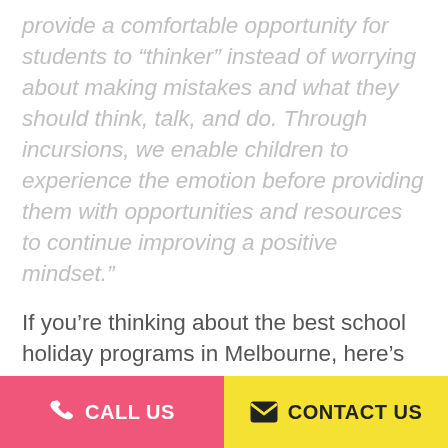provide a comfortable opportunity for students to “thinker” instead of worrying about making mistakes and what they should think, talk, and do. Through incursions, we enable children to experience the emotion before providing them with opportunities and resources to continue improving a positive mindset.”
If you’re thinking about the best school holiday programs in Melbourne, here’s our top ten Primary Schools Incursion Programs:
#1 Mr. Paramedic
CALL US   CONTACT US